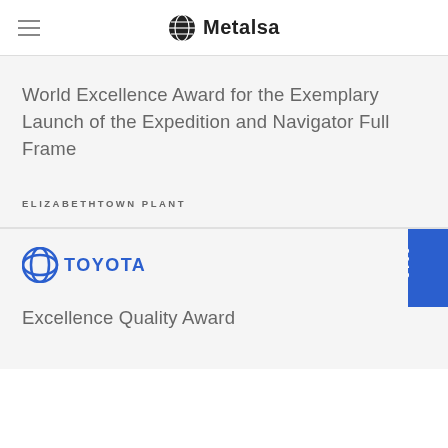Metalsa
World Excellence Award for the Exemplary Launch of the Expedition and Navigator Full Frame
ELIZABETHTOWN PLANT
[Figure (logo): Toyota logo with text 'TOYOTA' in blue]
Excellence Quality Award